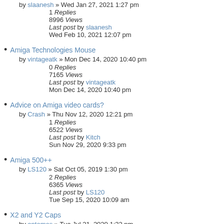by slaanesh » Wed Jan 27, 2021 1:27 pm
1 Replies
8996 Views
Last post by slaanesh
Wed Feb 10, 2021 12:07 pm
Amiga Technologies Mouse
by vintageatk » Mon Dec 14, 2020 10:40 pm
0 Replies
7165 Views
Last post by vintageatk
Mon Dec 14, 2020 10:40 pm
Advice on Amiga video cards?
by Crash » Thu Nov 12, 2020 12:21 pm
1 Replies
6522 Views
Last post by Kitch
Sun Nov 29, 2020 9:33 pm
Amiga 500++
by LS120 » Sat Oct 05, 2019 1:30 pm
2 Replies
6365 Views
Last post by LS120
Tue Sep 15, 2020 10:09 am
X2 and Y2 Caps
by entomos » Tue Jul 21, 2020 1:32 pm
1 Replies